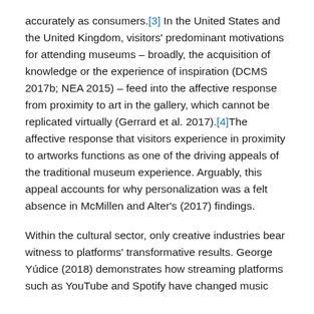accurately as consumers.[3] In the United States and the United Kingdom, visitors' predominant motivations for attending museums – broadly, the acquisition of knowledge or the experience of inspiration (DCMS 2017b; NEA 2015) – feed into the affective response from proximity to art in the gallery, which cannot be replicated virtually (Gerrard et al. 2017).[4]The affective response that visitors experience in proximity to artworks functions as one of the driving appeals of the traditional museum experience. Arguably, this appeal accounts for why personalization was a felt absence in McMillen and Alter's (2017) findings.
Within the cultural sector, only creative industries bear witness to platforms' transformative results. George Yúdice (2018) demonstrates how streaming platforms such as YouTube and Spotify have changed music